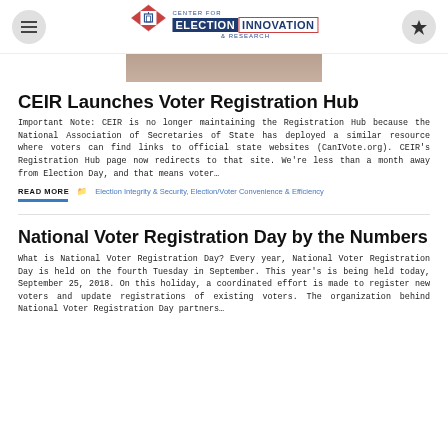Center for Election Innovation & Research
[Figure (photo): Partial photo of a person, cropped at top]
CEIR Launches Voter Registration Hub
Important Note: CEIR is no longer maintaining the Registration Hub because the National Association of Secretaries of State has deployed a similar resource where voters can find links to official state websites (CanIVote.org). CEIR's Registration Hub page now redirects to that site. We're less than a month away from Election Day, and that means voter…
READ MORE
Election Integrity & Security, Election/Voter Convenience & Efficiency
National Voter Registration Day by the Numbers
What is National Voter Registration Day? Every year, National Voter Registration Day is held on the fourth Tuesday in September. This year's is being held today, September 25, 2018. On this holiday, a coordinated effort is made to register new voters and update registrations of existing voters. The organization behind National Voter Registration Day partners…